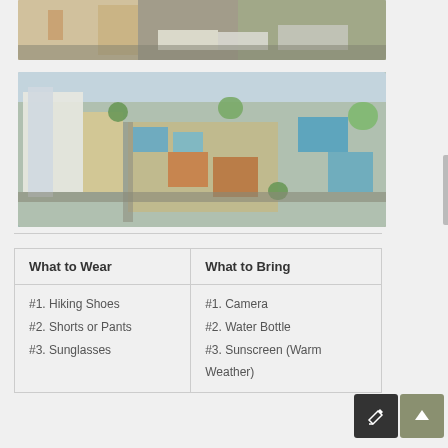[Figure (photo): Street-level photo of an urban area with buildings, pedestrians, and vehicles including trucks and cars]
[Figure (photo): Aerial/bird's-eye view of a dense urban market area with colorful rooftops, buildings, and green trees]
| What to Wear | What to Bring |
| --- | --- |
| #1. Hiking Shoes
#2. Shorts or Pants
#3. Sunglasses | #1. Camera
#2. Water Bottle
#3. Sunscreen (Warm Weather) |